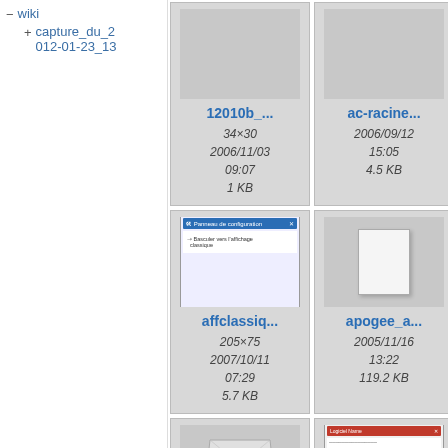− wiki
+ capture_du_2012-01-23_13
[Figure (screenshot): File browser grid showing thumbnail images with metadata. Row 1: 12010b_... (34×30, 2006/11/03 09:07, 1 KB), ac-racine... (2006/09/12 15:05, 4.5 KB), ac... (partial). Row 2: affclassiq... screenshot thumbnail (205×75, 2007/10/11 07:29, 5.7 KB), apogee_a... blank page icon (2005/11/16 13:22, 119.2 KB), partial. Row 3: email icon thumbnail, dialog screenshot thumbnail, partial.]